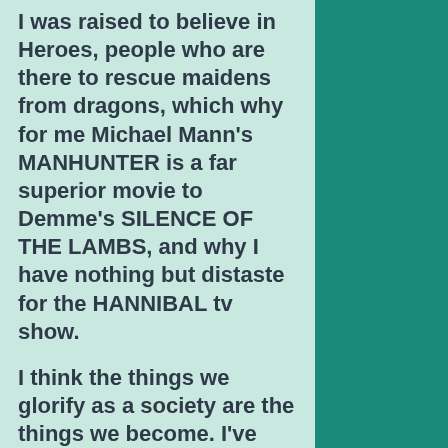I was raised to believe in Heroes, people who are there to rescue maidens from dragons, which why for me Michael Mann's MANHUNTER is a far superior movie to Demme's SILENCE OF THE LAMBS, and why I have nothing but distaste for the HANNIBAL tv show.
I think the things we glorify as a society are the things we become. I've always believed in glorifying heroes, however in our DEXTER, SHIELD, HANNIBAL, BATES MOTEL, VIKINGS generation we get the opposite of that. And don't get me started on VIKINGS(they went around murdering, torturing, raping, and stealing, largely from unarmed villages and settlements, yet now we